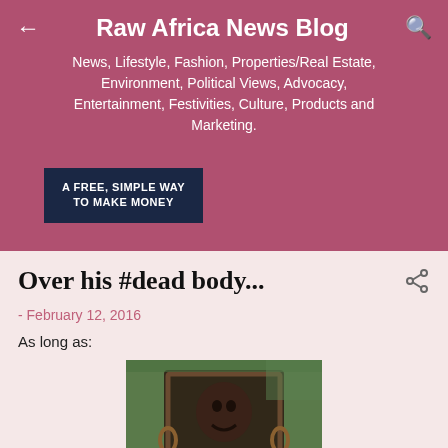Raw Africa News Blog
News, Lifestyle, Fashion, Properties/Real Estate, Environment, Political Views, Advocacy, Entertainment, Festivities, Culture, Products and Marketing.
A FREE, SIMPLE WAY TO MAKE MONEY
Over his #dead body...
- February 12, 2016
As long as:
[Figure (photo): Bronze or dark metal sculpture of a figure in a rectangular frame-like structure, appearing to be an art installation outdoors with green foliage in the background.]